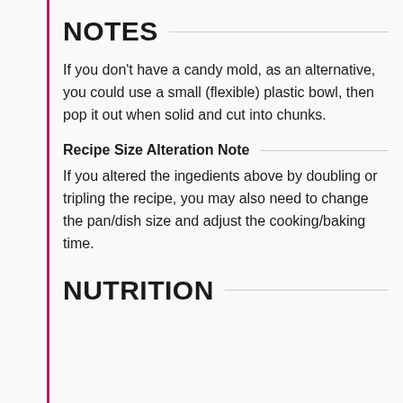NOTES
If you don't have a candy mold, as an alternative, you could use a small (flexible) plastic bowl, then pop it out when solid and cut into chunks.
Recipe Size Alteration Note
If you altered the ingedients above by doubling or tripling the recipe, you may also need to change the pan/dish size and adjust the cooking/baking time.
NUTRITION